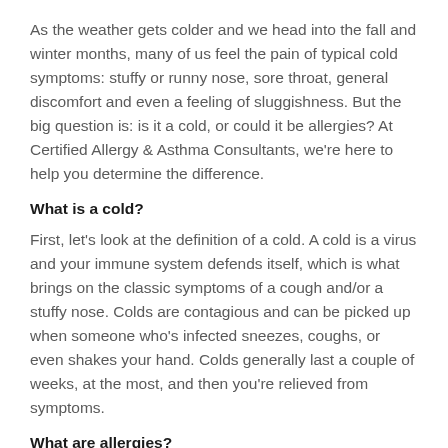As the weather gets colder and we head into the fall and winter months, many of us feel the pain of typical cold symptoms: stuffy or runny nose, sore throat, general discomfort and even a feeling of sluggishness. But the big question is: is it a cold, or could it be allergies? At Certified Allergy & Asthma Consultants, we're here to help you determine the difference.
What is a cold?
First, let's look at the definition of a cold. A cold is a virus and your immune system defends itself, which is what brings on the classic symptoms of a cough and/or a stuffy nose. Colds are contagious and can be picked up when someone who's infected sneezes, coughs, or even shakes your hand. Colds generally last a couple of weeks, at the most, and then you're relieved from symptoms.
What are allergies?